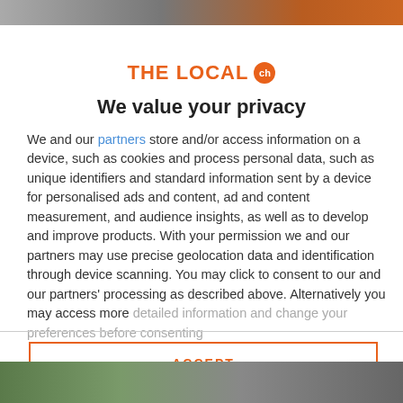[Figure (screenshot): Top navigation bar strip of The Local website]
THE LOCAL ch
We value your privacy
We and our partners store and/or access information on a device, such as cookies and process personal data, such as unique identifiers and standard information sent by a device for personalised ads and content, ad and content measurement, and audience insights, as well as to develop and improve products. With your permission we and our partners may use precise geolocation data and identification through device scanning. You may click to consent to our and our partners' processing as described above. Alternatively you may access more detailed information and change your preferences before consenting
ACCEPT
MORE OPTIONS
[Figure (photo): Bottom image strip showing outdoor scene]